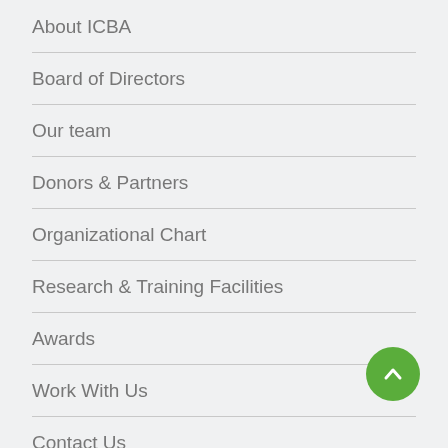About ICBA
Board of Directors
Our team
Donors & Partners
Organizational Chart
Research & Training Facilities
Awards
Work With Us
Contact Us